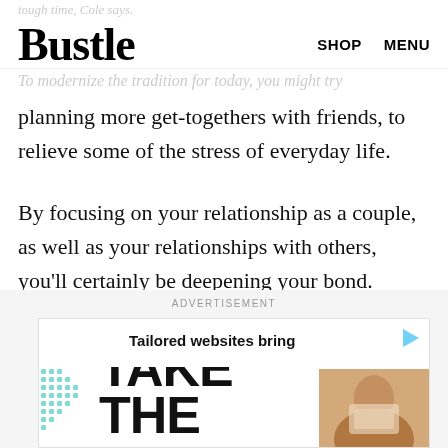tough time, Cole says. Bustle  SHOP  MENU
To modernize the tradition for today, you might try planning more get-togethers with friends, to relieve some of the stress of everyday life.
By focusing on your relationship as a couple, as well as your relationships with others, you'll certainly be deepening your bond.
ADVERTISEMENT
[Figure (infographic): Advertisement banner showing 'Tailored websites bring customers to your doorsteps.' with 'TAKE THE' text and dot pattern graphics]